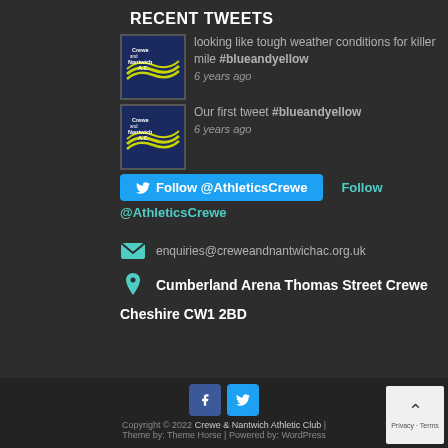RECENT TWEETS
looking like tough weather conditions for killer mile #blueandyellow
6 years ago
Our first tweet #blueandyellow
6 years ago
Follow @AthleticsCrewe    Follow @AthleticsCrewe
enquiries@creweandnantwichac.org.uk
Cumberland Arena Thomas Street Crewe
Cheshire CW1 2BD
Copyright © 2022 Crewe & Nantwich Athletic Club | Theme by: Theme Horse | Powered by: WordPress